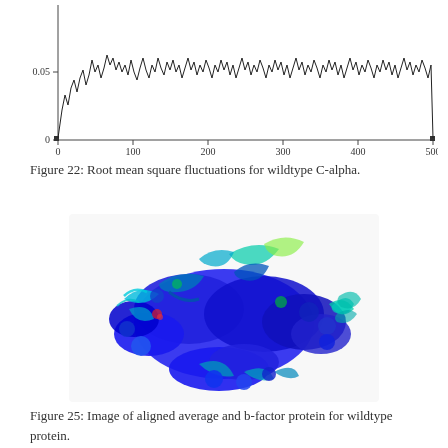[Figure (continuous-plot): Line chart showing Root mean square fluctuations for wildtype C-alpha. X-axis labeled 'Residue' ranging from 0 to 500. Y-axis shows values 0 and 0.05. A jagged fluctuation line runs across all residues.]
Figure 22: Root mean square fluctuations for wildtype C-alpha.
[Figure (illustration): 3D molecular visualization of aligned average and b-factor protein for wildtype protein. The protein structure is shown in ribbon/cartoon representation colored mostly blue with cyan, green, and yellow highlights indicating b-factor or structural regions.]
Figure 25: Image of aligned average and b-factor protein for wildtype protein.